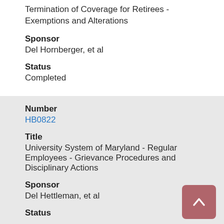Termination of Coverage for Retirees - Exemptions and Alterations
Sponsor
Del Hornberger, et al
Status
Completed
Number
HB0822
Title
University System of Maryland - Regular Employees - Grievance Procedures and Disciplinary Actions
Sponsor
Del Hettleman, et al
Status